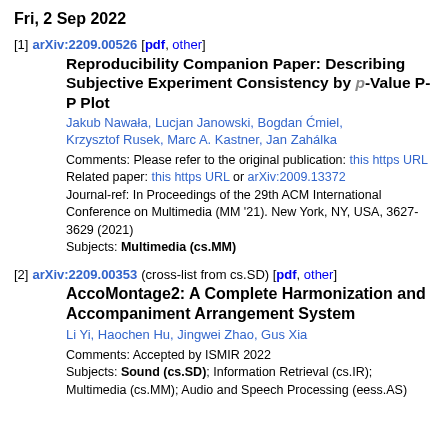Fri, 2 Sep 2022
[1] arXiv:2209.00526 [pdf, other]
Reproducibility Companion Paper: Describing Subjective Experiment Consistency by p-Value P-P Plot
Jakub Nawała, Lucjan Janowski, Bogdan Ćmiel, Krzysztof Rusek, Marc A. Kastner, Jan Zahálka
Comments: Please refer to the original publication: this https URL
Related paper: this https URL or arXiv:2009.13372
Journal-ref: In Proceedings of the 29th ACM International Conference on Multimedia (MM '21). New York, NY, USA, 3627-3629 (2021)
Subjects: Multimedia (cs.MM)
[2] arXiv:2209.00353 (cross-list from cs.SD) [pdf, other]
AccoMontage2: A Complete Harmonization and Accompaniment Arrangement System
Li Yi, Haochen Hu, Jingwei Zhao, Gus Xia
Comments: Accepted by ISMIR 2022
Subjects: Sound (cs.SD); Information Retrieval (cs.IR); Multimedia (cs.MM); Audio and Speech Processing (eess.AS)